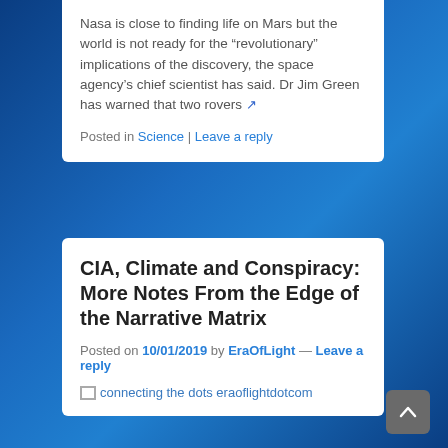Nasa is close to finding life on Mars but the world is not ready for the “revolutionary” implications of the discovery, the space agency’s chief scientist has said. Dr Jim Green has warned that two rovers ↗
Posted in Science | Leave a reply
CIA, Climate and Conspiracy: More Notes From the Edge of the Narrative Matrix
Posted on 10/01/2019 by EraOfLight — Leave a reply
[Figure (photo): Broken image placeholder labeled: connecting the dots eraoflightdotcom]